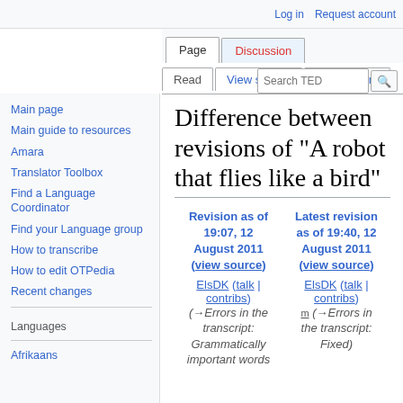Log in  Request account
Page  Discussion  Read  View source  View history  Search TED
Difference between revisions of "A robot that flies like a bird"
| Revision as of 19:07, 12 August 2011 (view source) | Latest revision as of 19:40, 12 August 2011 (view source) |
| --- | --- |
| ElsDK (talk | contribs) | ElsDK (talk | contribs) |
| (→Errors in the transcript: Grammatically important words | m (→Errors in the transcript: Fixed) |
Main page
Main guide to resources
Amara
Translator Toolbox
Find a Language Coordinator
Find your Language group
How to transcribe
How to edit OTPedia
Recent changes
Languages
Afrikaans